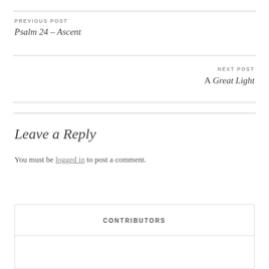PREVIOUS POST
Psalm 24 – Ascent
NEXT POST
A Great Light
Leave a Reply
You must be logged in to post a comment.
CONTRIBUTORS